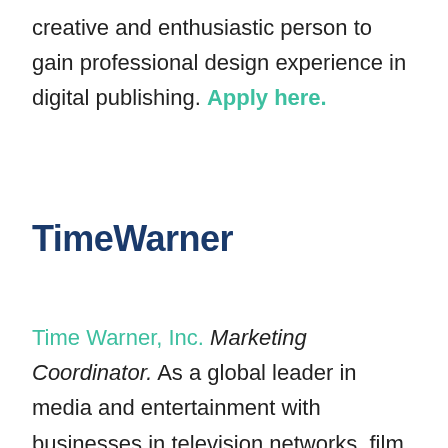creative and enthusiastic person to gain professional design experience in digital publishing. Apply here.
[Figure (logo): Time Warner logo in dark navy bold sans-serif text]
Time Warner, Inc. Marketing Coordinator. As a global leader in media and entertainment with businesses in television networks, film and TV entertainment and publishing, Time Warner Inc. offers exciting and rewarding career opportunities